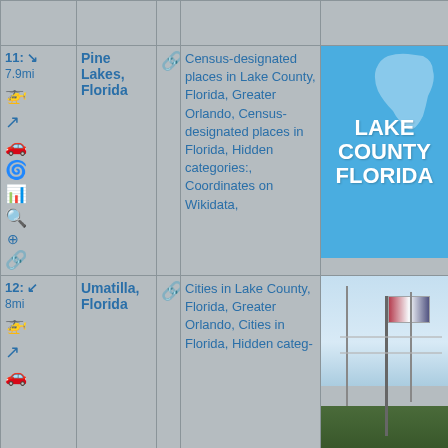| Icons/Nav | Place Name | Link | Categories | Image |
| --- | --- | --- | --- | --- |
| 11: ↘ 7.9mi [icons] | Pine Lakes, Florida | 🔗 | Census-designated places in Lake County, Florida, Greater Orlando, Census-designated places in Florida, Hidden categories:, Coordinates on Wikidata, | Lake County Florida sign |
| 12: ↙ 8mi [icons] | Umatilla, Florida | 🔗 | Cities in Lake County, Florida, Greater Orlando, Cities in Florida, Hidden categ- | Photo of Umatilla |